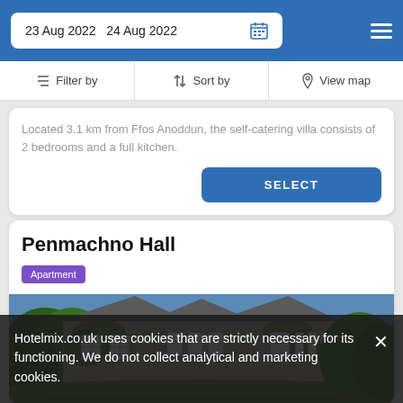23 Aug 2022  24 Aug 2022
Filter by   Sort by   View map
Located 3.1 km from Ffos Anoddun, the self-catering villa consists of 2 bedrooms and a full kitchen.
Penmachno Hall
Apartment
[Figure (photo): Exterior photo of Penmachno Hall, a stone building covered in ivy with multiple windows and a slate roof, surrounded by trees.]
Hotelmix.co.uk uses cookies that are strictly necessary for its functioning. We do not collect analytical and marketing cookies.